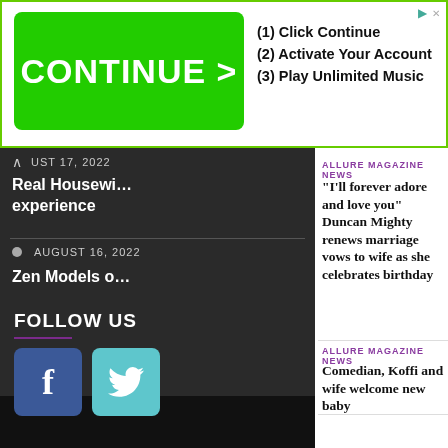[Figure (screenshot): Advertisement banner with green CONTINUE > button and steps: (1) Click Continue, (2) Activate Your Account, (3) Play Unlimited Music]
AUGUST 17, 2022
Real Housewi… experience
AUGUST 16, 2022
Zen Models o…
FOLLOW US
[Figure (other): Facebook icon (blue square with f)]
[Figure (other): Twitter icon (teal square with bird)]
ALLURE MAGAZINE NEWS
“I’ll forever adore and love you” Duncan Mighty renews marriage vows to wife as she celebrates birthday
ALLURE MAGAZINE NEWS
Comedian, Koffi and wife welcome new baby
HAPPINESS RELATIONSHIPS
Christmas Sex Styles To Try This Holiday
[Figure (photo): Couple in bed, lifestyle photo]